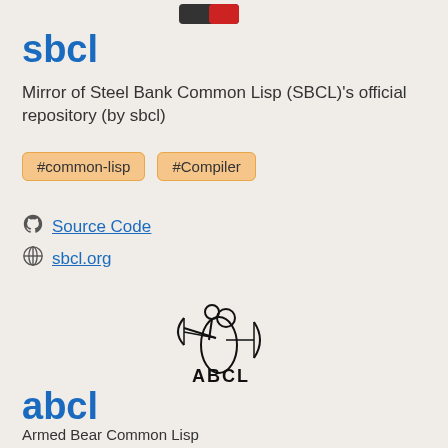[Figure (logo): SBCL logo — red and dark bar logo at the top]
sbcl
Mirror of Steel Bank Common Lisp (SBCL)'s official repository (by sbcl)
#common-lisp
#Compiler
Source Code
sbcl.org
[Figure (logo): ABCL logo — figure of a person with a crossbow and text ABCL]
abcl
Armed Bear Common Lisp <git+https://github.com/armedbear/abcl/> <--> <svn+https://abcl.org/svn> Bridge (by armedbear)